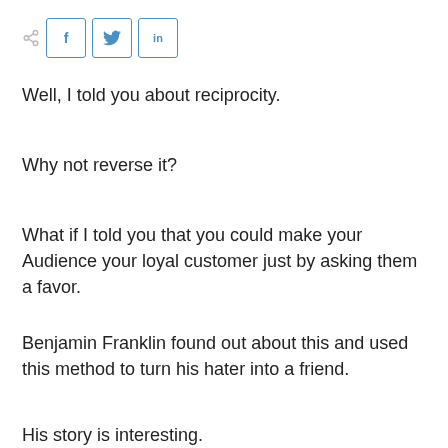[Figure (other): Social share bar with share icon, Facebook (f), Twitter (bird), and LinkedIn (in) buttons]
Well, I told you about reciprocity.
Why not reverse it?
What if I told you that you could make your Audience your loyal customer just by asking them a favor.
Benjamin Franklin found out about this and used this method to turn his hater into a friend.
His story is interesting.